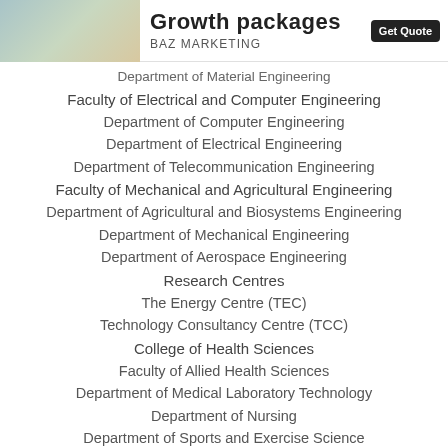Growth packages | BAZ MARKETING
Department of Material Engineering
Faculty of Electrical and Computer Engineering
Department of Computer Engineering
Department of Electrical Engineering
Department of Telecommunication Engineering
Faculty of Mechanical and Agricultural Engineering
Department of Agricultural and Biosystems Engineering
Department of Mechanical Engineering
Department of Aerospace Engineering
Research Centres
The Energy Centre (TEC)
Technology Consultancy Centre (TCC)
College of Health Sciences
Faculty of Allied Health Sciences
Department of Medical Laboratory Technology
Department of Nursing
Department of Sports and Exercise Science